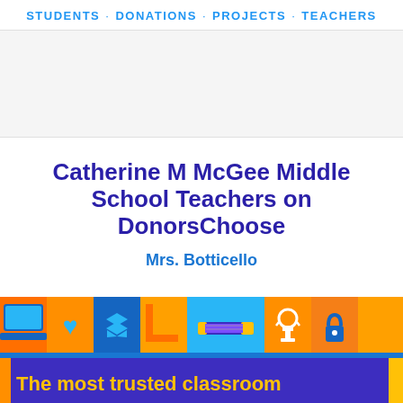STUDENTS · DONATIONS · PROJECTS · TEACHERS
Catherine M McGee Middle School Teachers on DonorsChoose
Mrs. Botticello
[Figure (illustration): DonorsChoose colorful banner with educational icons (laptop, heart, Dropbox logo, letter blocks, pencil/eraser, trophy, lock) on blue and orange background. Bottom section shows purple banner with yellow text 'The most trusted classroom']